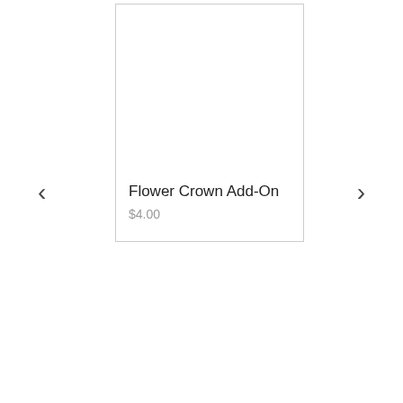[Figure (other): Left navigation chevron arrow pointing left]
[Figure (other): Product card with white image area, title Flower Crown Add-On, and price $4.00]
Flower Crown Add-On
$4.00
[Figure (other): Right navigation chevron arrow pointing right]